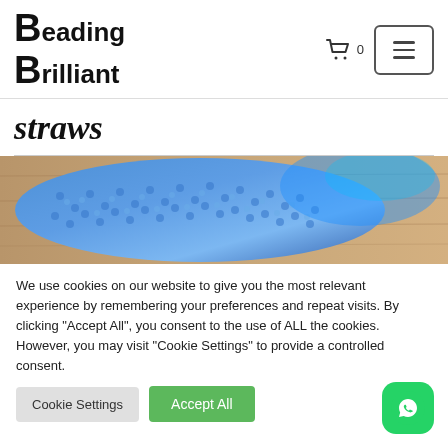Beading Brilliant — navigation header with cart (0) and menu button
straws
[Figure (photo): Close-up photo of blue crocheted or beaded straws on a wooden surface]
We use cookies on our website to give you the most relevant experience by remembering your preferences and repeat visits. By clicking "Accept All", you consent to the use of ALL the cookies. However, you may visit "Cookie Settings" to provide a controlled consent.
Cookie Settings  |  Accept All